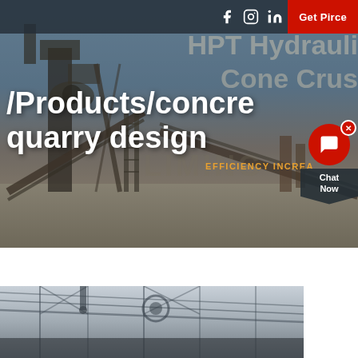[Figure (photo): Industrial quarry/mining site with crushing and screening machinery, conveyors, and equipment visible against a sky background. Hero banner image of a concrete quarry design facility.]
Social icons: Facebook, Instagram, LinkedIn | Get Pirce button
/Products/concre quarry design
HPT Hydraulic Cone Crusher - EFFICIENCY INCREA
[Figure (photo): Interior of industrial building/factory with steel roof trusses and structural elements visible.]